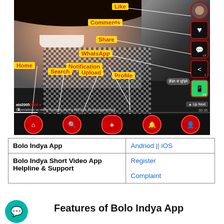[Figure (screenshot): Annotated screenshot of Bolo Indya short video app showing UI elements: Like, Comments, Share, WhatsApp, Notification, Home, Search, Upload, Profile buttons labeled with yellow annotation tags]
| Bolo Indya App | Andriod || iOS |
| Bolo Indya Short Video App Helpline & Support | Register
Complaint |
Features of Bolo Indya App